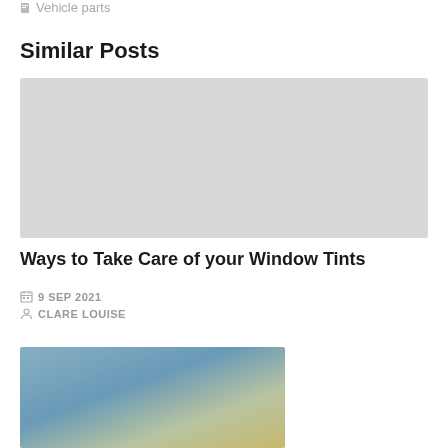Vehicle parts
Similar Posts
[Figure (photo): Gray placeholder image for a blog post card]
Ways to Take Care of your Window Tints
9 SEP 2021
CLARE LOUISE
[Figure (photo): Partial photo of a car with yellow/orange vehicle visible, blue sky background]